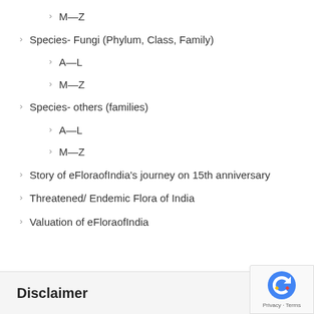M—Z
Species- Fungi (Phylum, Class, Family)
A—L
M—Z
Species- others (families)
A—L
M—Z
Story of eFloraofIndia's journey on 15th anniversary
Threatened/ Endemic Flora of India
Valuation of eFloraofIndia
Disclaimer